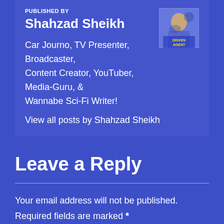PUBLISHED BY
Shahzad Sheikh
[Figure (photo): Profile photo of Shahzad Sheikh in a car, with a yellow logo overlay]
Car Journo, TV Presenter, Broadcaster, Content Creator, YouTuber, Media-Guru, & Wannabe Sci-Fi Writer!
View all posts by Shahzad Sheikh
Leave a Reply
Your email address will not be published.
Required fields are marked *